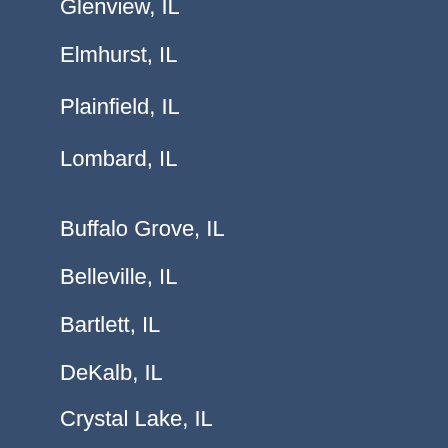Glenview, IL
Elmhurst, IL
Plainfield, IL
Lombard, IL
Buffalo Grove, IL
Belleville, IL
Bartlett, IL
DeKalb, IL
Crystal Lake, IL
Romeoville, IL
Carol Stream, IL
Park Ridge, IL
Streamwood, IL
Quincy, IL